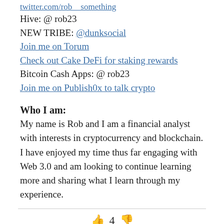Hive: @ rob23
NEW TRIBE: @dunksocial
Join me on Torum
Check out Cake DeFi for staking rewards
Bitcoin Cash Apps: @ rob23
Join me on Publishox to talk crypto
Who I am:
My name is Rob and I am a financial analyst with interests in cryptocurrency and blockchain. I have enjoyed my time thus far engaging with Web 3.0 and am looking to continue learning more and sharing what I learn through my experience.
👍 4 👎
↑ $ 3.37